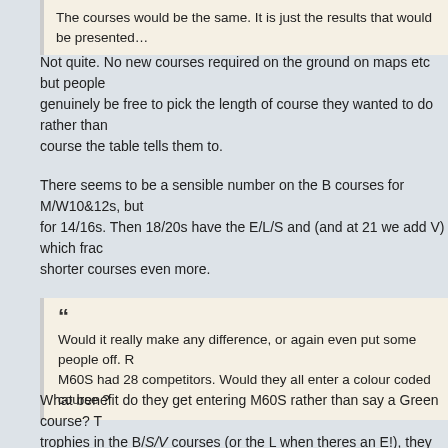The courses would be the same. It is just the results that would be presented differently.
Not quite. No new courses required on the ground on maps etc but people genuinely be free to pick the length of course they wanted to do rather than the course the table tells them to.
There seems to be a sensible number on the B courses for M/W10&12s, but for 14/16s. Then 18/20s have the E/L/S and (and at 21 we add V) which fractionates shorter courses even more.
Would it really make any difference, or again even put some people off. M60S had 28 competitors. Would they all enter a colour coded course ?
What benefit do they get entering M60S rather than say a Green course? The trophies in the B/S/V courses (or the L when theres an E!), they are only competing against people who happen to be in the same narrow group of birth years who fancy the full championship course for whatever reason, not necessarily people of similar ability, or even fitness level as orienteers. Once you get to self-selection fitness/ability sex also becomes less relevant, which means everyone gets. As a not very fast man I'm more interested in how my orienteering compares with people who usually get similar results to me than any claims of glory. The S